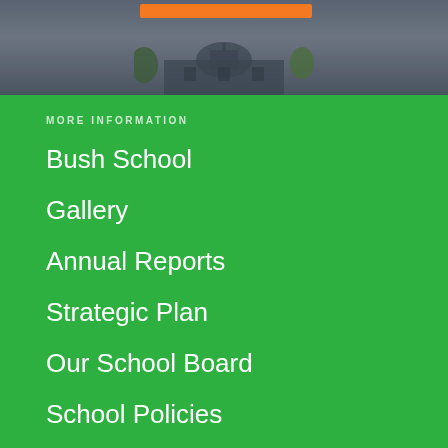[Figure (photo): Partial photo of a school building against a grey sky with some tree foliage visible, with an orange navigation bar overlay near the top]
MORE INFORMATION
Bush School
Gallery
Annual Reports
Strategic Plan
Our School Board
School Policies
USEFUL LINKS
News
Events Calendar